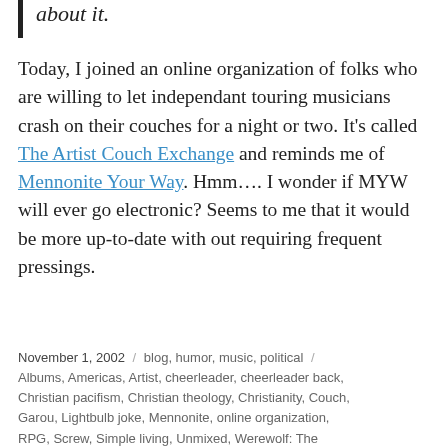about it.
Today, I joined an online organization of folks who are willing to let independant touring musicians crash on their couches for a night or two. It's called The Artist Couch Exchange and reminds me of Mennonite Your Way. Hmm.... I wonder if MYW will ever go electronic? Seems to me that it would be more up-to-date with out requiring frequent pressings.
November 1, 2002 / blog, humor, music, political / Albums, Americas, Artist, cheerleader, cheerleader back, Christian pacifism, Christian theology, Christianity, Couch, Garou, Lightbulb joke, Mennonite, online organization, RPG, Screw, Simple living, Unmixed, Werewolf: The Apocalypse, Yale